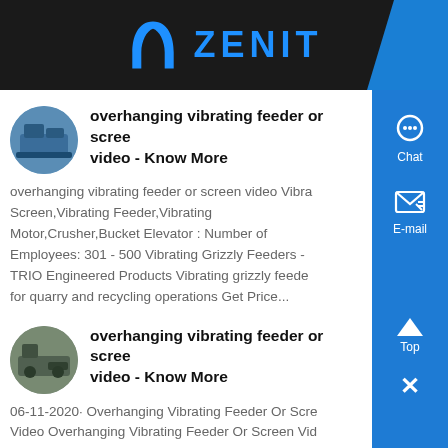ZENIT
overhanging vibrating feeder or screen video - Know More
overhanging vibrating feeder or screen video Vibrating Screen,Vibrating Feeder,Vibrating Motor,Crusher,Bucket Elevator : Number of Employees: 301 - 500 Vibrating Grizzly Feeders - TRIO Engineered Products Vibrating grizzly feeder for quarry and recycling operations Get Price...
overhanging vibrating feeder or screen video - Know More
06-11-2020· Overhanging Vibrating Feeder Or Screen Video Overhanging Vibrating Feeder Or Screen Video Processing Line is manufactured from Shanghai ,It